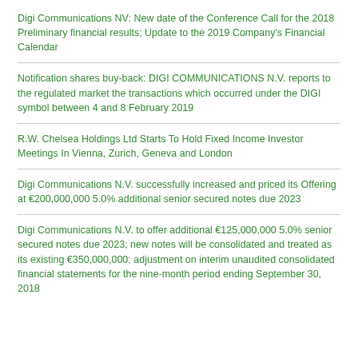Digi Communications NV: New date of the Conference Call for the 2018 Preliminary financial results; Update to the 2019 Company's Financial Calendar
Notification shares buy-back: DIGI COMMUNICATIONS N.V. reports to the regulated market the transactions which occurred under the DIGI symbol between 4 and 8 February 2019
R.W. Chelsea Holdings Ltd Starts To Hold Fixed Income Investor Meetings In Vienna, Zurich, Geneva and London
Digi Communications N.V. successfully increased and priced its Offering at €200,000,000 5.0% additional senior secured notes due 2023
Digi Communications N.V. to offer additional €125,000,000 5.0% senior secured notes due 2023; new notes will be consolidated and treated as its existing €350,000,000; adjustment on interim unaudited consolidated financial statements for the nine-month period ending September 30, 2018